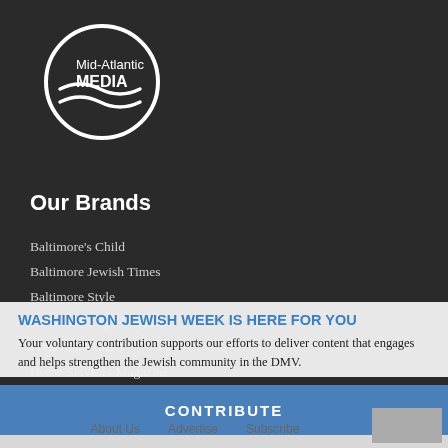[Figure (logo): Mid-Atlantic Media logo — white circle with curved lines and text 'Mid-Atlantic MEDIA' on dark background]
Our Brands
Baltimore's Child
Baltimore Jewish Times
Baltimore Style
Consumer's Eye Magazine
Frederick's Child
Home Services Magazine
Jewish T...
Metz Kids...
Montg...
Washington Family Magazine
WASHINGTON JEWISH WEEK IS HERE FOR YOU
Your voluntary contribution supports our efforts to deliver content that engages and helps strengthen the Jewish community in the DMV.
CONTRIBUTE
About Us   Advertise   Subscribe